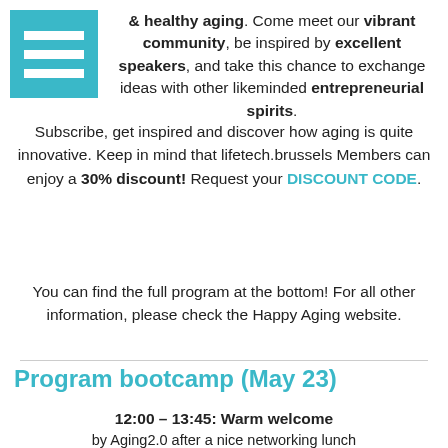[Figure (logo): Teal/cyan square logo with three white horizontal lines (hamburger menu style)]
& healthy aging. Come meet our vibrant community, be inspired by excellent speakers, and take this chance to exchange ideas with other likeminded entrepreneurial spirits.
Subscribe, get inspired and discover how aging is quite innovative. Keep in mind that lifetech.brussels Members can enjoy a 30% discount! Request your DISCOUNT CODE.
You can find the full program at the bottom! For all other information, please check the Happy Aging website.
Program bootcamp (May 23)
12:00 – 13:45: Warm welcome
by Aging2.0 after a nice networking lunch